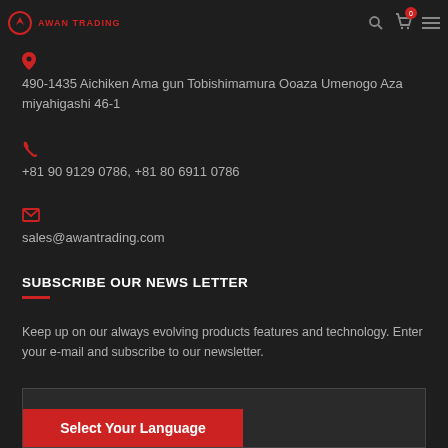Awan Trading
490-1435 Aichiken Ama gun Tobishimamura Ooaza Umenogo Aza miyahigashi 46-1
+81 90 9129 0786, +81 80 6911 0786
sales@awantrading.com
SUBSCRIBE OUR NEWS LETTER
Keep up on our always evolving products features and technology. Enter your e-mail and subscribe to our newsletter.
Select Your Language